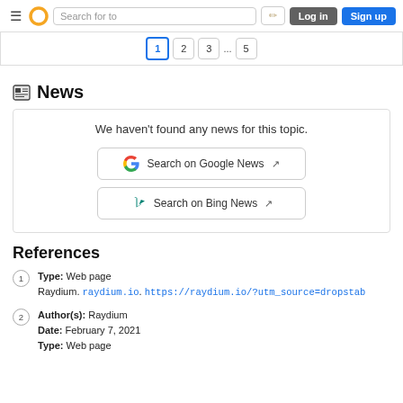≡ [logo] Search for to [edit] Log in  Sign up
1  2  3  ...  5
News
We haven't found any news for this topic.
Search on Google News ↗
Search on Bing News ↗
References
Type: Web page
Raydium. raydium.io. https://raydium.io/?utm_source=dropstab
Author(s): Raydium
Date: February 7, 2021
Type: Web page